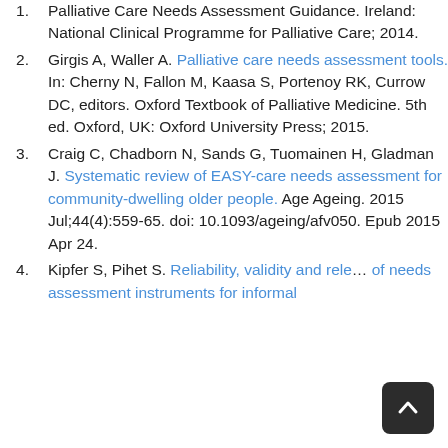National Clinical Programme for Palliative Care. Palliative Care Needs Assessment Guidance. Ireland: National Clinical Programme for Palliative Care; 2014.
Girgis A, Waller A. Palliative care needs assessment tools. In: Cherny N, Fallon M, Kaasa S, Portenoy RK, Currow DC, editors. Oxford Textbook of Palliative Medicine. 5th ed. Oxford, UK: Oxford University Press; 2015.
Craig C, Chadborn N, Sands G, Tuomainen H, Gladman J. Systematic review of EASY-care needs assessment for community-dwelling older people. Age Ageing. 2015 Jul;44(4):559-65. doi: 10.1093/ageing/afv050. Epub 2015 Apr 24.
Kipfer S, Pihet S. Reliability, validity and relevance of needs assessment instruments for informal...